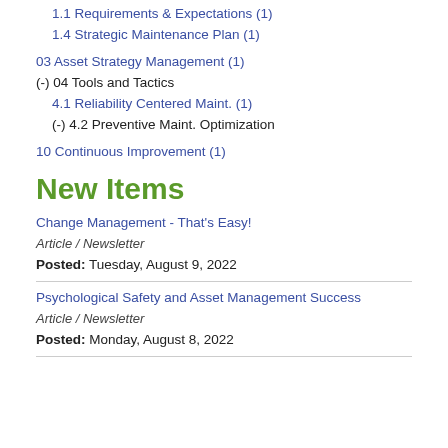1.1 Requirements & Expectations (1)
1.4 Strategic Maintenance Plan (1)
03 Asset Strategy Management (1)
(-) 04 Tools and Tactics
4.1 Reliability Centered Maint. (1)
(-) 4.2 Preventive Maint. Optimization
10 Continuous Improvement (1)
New Items
Change Management - That's Easy!
Article / Newsletter
Posted: Tuesday, August 9, 2022
Psychological Safety and Asset Management Success
Article / Newsletter
Posted: Monday, August 8, 2022